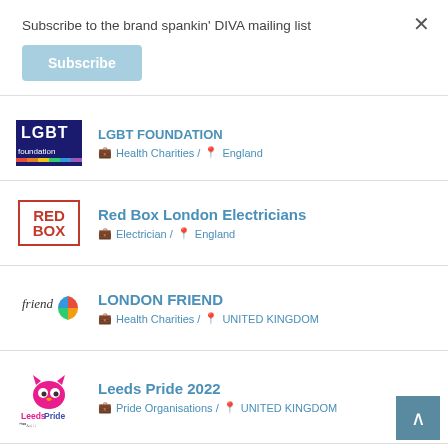Subscribe to the brand spankin' DIVA mailing list
Subscribe
LGBT Foundation | Health Charities / England
Red Box London Electricians | Electrician / England
LONDON FRIEND | Health Charities / UNITED KINGDOM
Leeds Pride 2022 | Pride Organisations / UNITED KINGDOM
TP Financial Solutions | Money Management / England